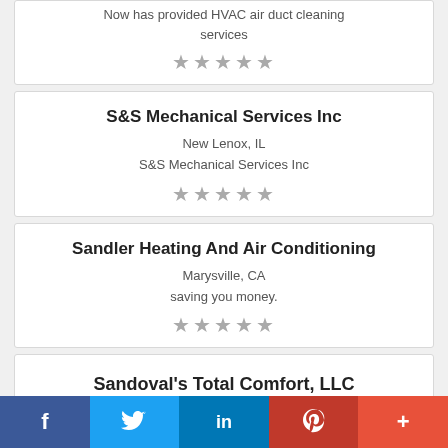Now has provided HVAC air duct cleaning services
★★★★★
S&S Mechanical Services Inc
New Lenox, IL
S&S Mechanical Services Inc
★★★★★
Sandler Heating And Air Conditioning
Marysville, CA
saving you money.
★★★★★
Sandoval's Total Comfort, LLC
f  twitter  in  P  +